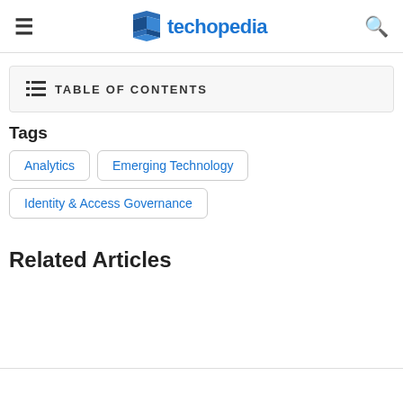techopedia
TABLE OF CONTENTS
Tags
Analytics
Emerging Technology
Identity & Access Governance
Related Articles